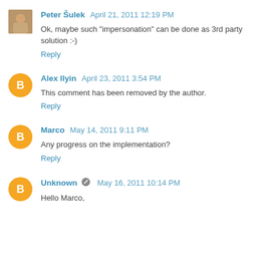Peter Šulek  April 21, 2011 12:19 PM
Ok, maybe such "impersonation" can be done as 3rd party solution :-)
Reply
Alex Ilyin  April 23, 2011 3:54 PM
This comment has been removed by the author.
Reply
Marco  May 14, 2011 9:11 PM
Any progress on the implementation?
Reply
Unknown  May 16, 2011 10:14 PM
Hello Marco,